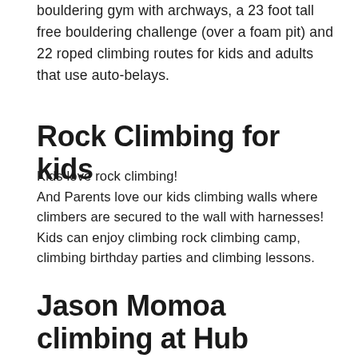bouldering gym with archways, a 23 foot tall free bouldering challenge (over a foam pit) and 22 roped climbing routes for kids and adults that use auto-belays.
Rock Climbing for kids
Kids love rock climbing!
And Parents love our kids climbing walls where climbers are secured to the wall with harnesses!
Kids can enjoy climbing rock climbing camp, climbing birthday parties and climbing lessons.
Jason Momoa climbing at Hub Climbing